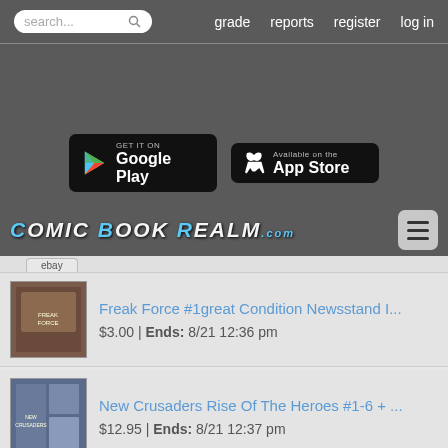search... | grade | reports | register | log in
[Figure (screenshot): Dark banner advertisement area]
[Figure (logo): Google Play store button]
[Figure (logo): App Store button]
[Figure (logo): Comic Book Realm .com logo with hamburger menu]
Freak Force #1great Condition Newsstand I... $3.00 | Ends: 8/21 12:36 pm
New Crusaders Rise Of The Heroes #1-6 + ... $12.95 | Ends: 8/21 12:37 pm